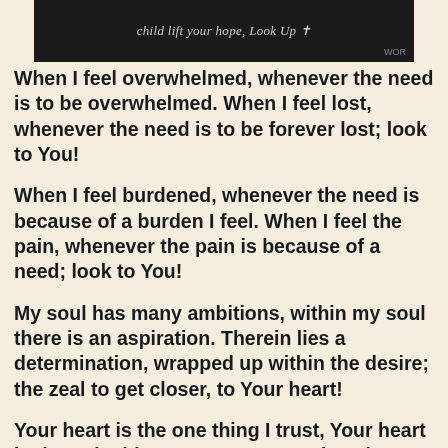[Figure (screenshot): Dark background screenshot showing text: 'child lift your hope, Look Up' with a cross symbol and 'WOR' watermark in bottom right]
When I feel overwhelmed, whenever the need is to be overwhelmed. When I feel lost, whenever the need is to be forever lost; look to You!
When I feel burdened, whenever the need is because of a burden I feel. When I feel the pain, whenever the pain is because of a need; look to You!
My soul has many ambitions, within my soul there is an aspiration. Therein lies a determination, wrapped up within the desire; the zeal to get closer, to Your heart!
Your heart is the one thing I trust, Your heart is the only thing I can trust. Your love is my desire, Your love is my only desire. The one thing I desire, the only